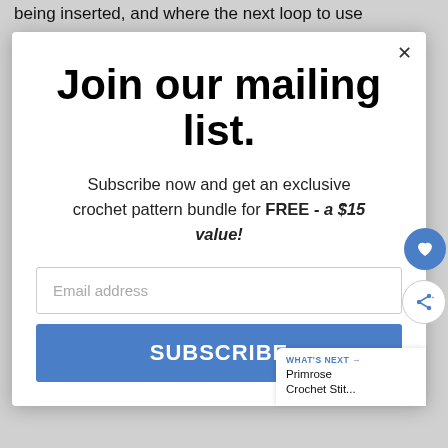being inserted, and where the next loop to use
Join our mailing list.
Subscribe now and get an exclusive crochet pattern bundle for FREE - a $15 value!
Email address
SUBSCRIBE
WHAT'S NEXT → Primrose Crochet Stit...